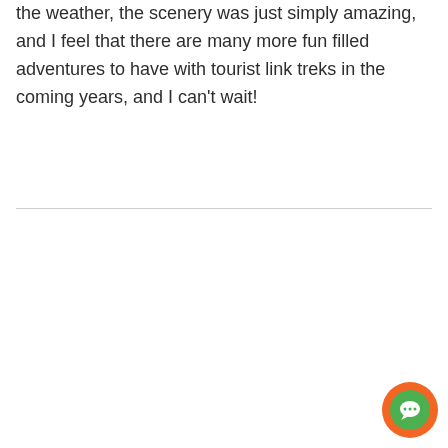the weather, the scenery was just simply amazing, and I feel that there are many more fun filled adventures to have with tourist link treks in the coming years, and I can't wait!
[Figure (other): A circular chat button with an orange outer ring and a green inner circle containing a white chat bubble icon, positioned in the bottom-right corner.]